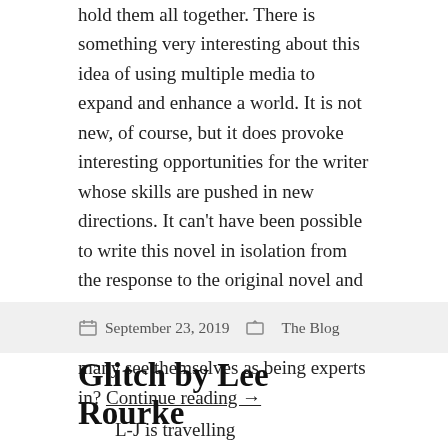hold them all together. There is something very interesting about this idea of using multiple media to expand and enhance a world. It is not new, of course, but it does provoke interesting opportunities for the writer whose skills are pushed in new directions. It can't have been possible to write this novel in isolation from the response to the original novel and then the television series. How do you write something new on a subject so many see themselves as being experts in? Continue reading →
September 23, 2019   The Blog
Glitch by Lee Rourke
L-J is travelling back to England